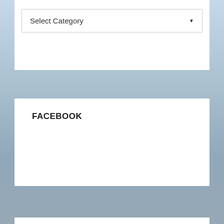Select Category
FACEBOOK
TWITTER
Tweets by @qutnews
ADMIN